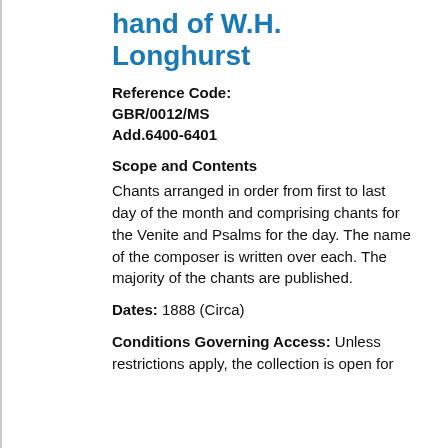hand of W.H. Longhurst
Reference Code: GBR/0012/MS Add.6400-6401
Scope and Contents
Chants arranged in order from first to last day of the month and comprising chants for the Venite and Psalms for the day. The name of the composer is written over each. The majority of the chants are published.
Dates: 1888 (Circa)
Conditions Governing Access: Unless restrictions apply, the collection is open for